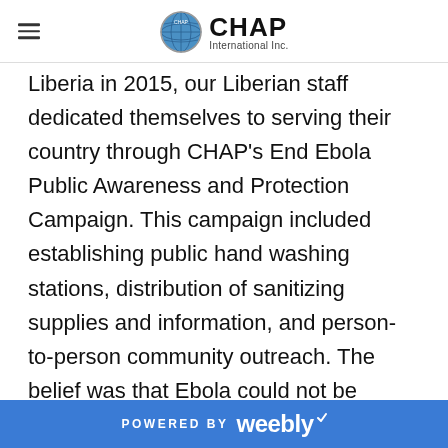CHAP International Inc.
Liberia in 2015, our Liberian staff dedicated themselves to serving their country through CHAP's End Ebola Public Awareness and Protection Campaign. This campaign included establishing public hand washing stations, distribution of sanitizing supplies and information, and person-to-person community outreach. The belief was that Ebola could not be stopped until Liberians
POWERED BY weebly